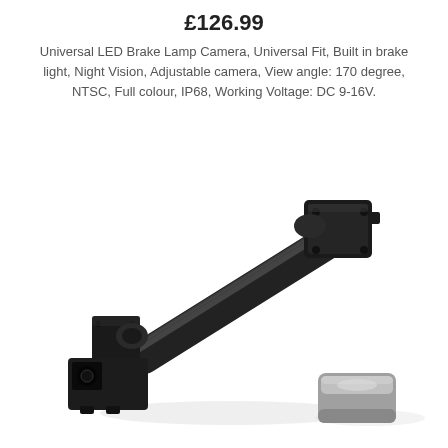£126.99
Universal LED Brake Lamp Camera, Universal Fit, Built in brake light, Night Vision, Adjustable camera, View angle: 170 degree, NTSC, Full colour, IP68, Working Voltage: DC 9-16V.
[Figure (photo): Product photo of a Universal LED Brake Lamp Camera showing a black cylindrical camera mount/arm with a bracket on one end and a mounting plate on the other, plus a separate small silver/grey sensor or magnet component placed beside it, on a white background.]